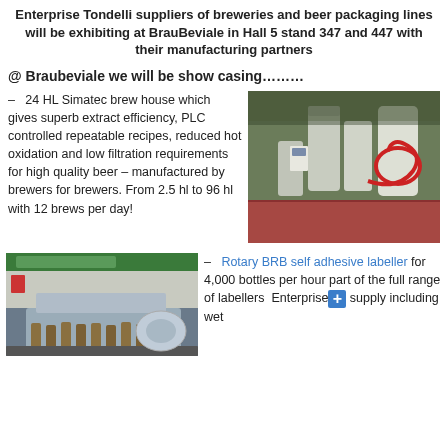Enterprise Tondelli suppliers of breweries and beer packaging lines will be exhibiting at BrauBeviale in Hall 5 stand 347 and 447 with their manufacturing partners
@ Braubeviale we will be show casing………
– 24 HL Simatec brew house which gives superb extract efficiency, PLC controlled repeatable recipes, reduced hot oxidation and low filtration requirements for high quality beer – manufactured by brewers for brewers. From 2.5 hl to 96 hl with 12 brews per day!
[Figure (photo): Simatec brew house with stainless steel tanks, red hoses, and control panels in an industrial brewery setting]
[Figure (photo): Rotary BRB self adhesive labelling machine on a bottling line with bottles]
– Rotary BRB self adhesive labeller for 4,000 bottles per hour part of the full range of labellers Enterprise supply including wet